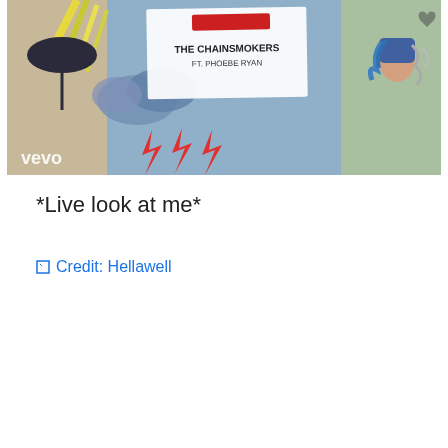[Figure (screenshot): A Vevo music video thumbnail for The Chainsmokers ft. Phoebe Ryan. The image shows colorful illustrated artwork with clouds, lightning bolts, and a figure with blue hair. A white crumpled paper card in the center reads 'THE CHAINSMOKERS FT. PHOEBE RYAN' with a red logo at the top. The Vevo logo appears in the lower left corner.]
*Live look at me*
Credit: Hellawell